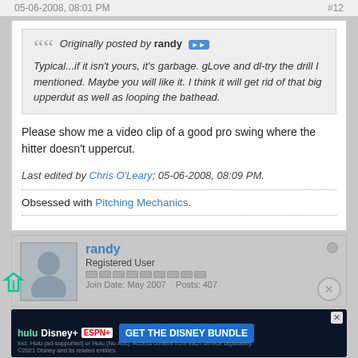05-06-2008, 08:01 PM    #12
Originally posted by randy
Typical...if it isn't yours, it's garbage. gLove and dl-try the drill I mentioned. Maybe you will like it. I think it will get rid of that big upperdut as well as looping the bathead.
Please show me a video clip of a good pro swing where the hitter doesn't uppercut.
Last edited by Chris O'Leary; 05-06-2008, 08:09 PM.
Obsessed with Pitching Mechanics.
randy
Registered User
Join Date: May 2007   Posts: 407
[Figure (infographic): Disney Bundle advertisement showing Hulu, Disney+, ESPN+ logos with GET THE DISNEY BUNDLE call to action]
not level with the ground-level with the shoulder plane and the plane of the ball. I believe is the idea.